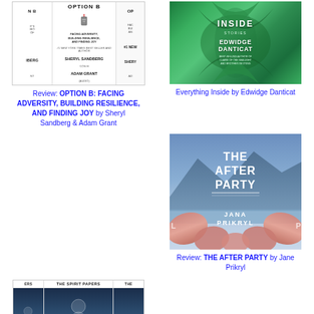[Figure (illustration): Book cover for Option B: Facing Adversity, Building Resilience, and Finding Joy by Sheryl Sandberg and Adam Grant, shown as three repeated cover strips]
Review: OPTION B: FACING ADVERSITY, BUILDING RESILIENCE, AND FINDING JOY by Sheryl Sandberg & Adam Grant
[Figure (illustration): Book cover for Everything Inside by Edwidge Danticat, green tropical design]
Everything Inside by Edwidge Danticat
[Figure (illustration): Book cover for The After Party by Jana Prikryl, landscape with pink and blue tones]
Review: THE AFTER PARTY by Jane Prikryl
[Figure (illustration): Book cover for The Spirit Papers, dark blue with figure, shown as three repeated strips]